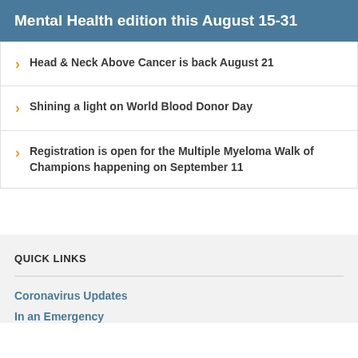Mental Health edition this August 15-31
Head & Neck Above Cancer is back August 21
Shining a light on World Blood Donor Day
Registration is open for the Multiple Myeloma Walk of Champions happening on September 11
QUICK LINKS
Coronavirus Updates
In an Emergency